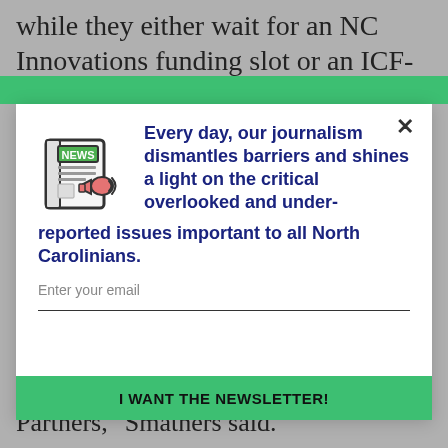while they either wait for an NC Innovations funding slot or an ICF-IID residential
[Figure (screenshot): Newsletter signup modal overlay with green top bar, news icon, bold navy text about journalism, email input field, and green 'I WANT THE NEWSLETTER!' button]
Partners," Smathers said.